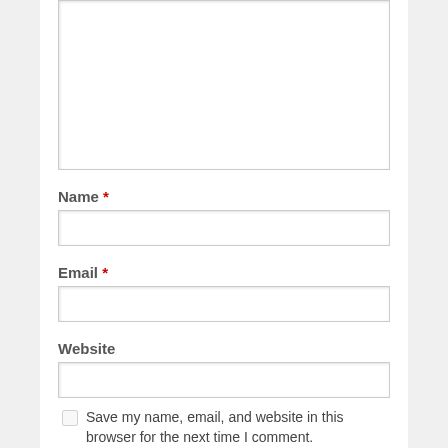[Figure (screenshot): Comment form textarea (empty, white background with inset shadow border)]
Name *
[Figure (screenshot): Name input field (empty, white background with inset shadow border)]
Email *
[Figure (screenshot): Email input field (empty, white background with inset shadow border)]
Website
[Figure (screenshot): Website input field (empty, white background with inset shadow border)]
Save my name, email, and website in this browser for the next time I comment.
Post Comment